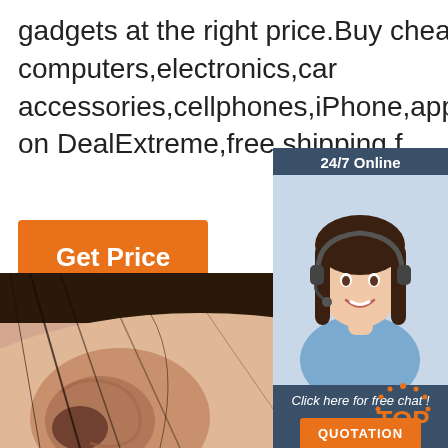gadgets at the right price.Buy cheap computers,electronics,car accessories,cellphones,iPhone,apparels and home gadgets on DealExtreme,free shipping for all orders.
[Figure (other): Orange 'Get Price' button]
[Figure (infographic): Chat widget with '24/7 Online' header, photo of woman with headset smiling, 'Click here for free chat!' text, and orange 'QUOTATION' button]
[Figure (photo): Close-up photo of a human ear with hair]
[Figure (other): Orange 'TOP' back-to-top button with dot decorations]